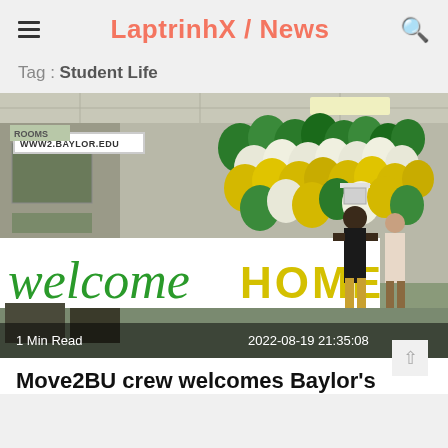LaptrinhX / News
Tag : Student Life
[Figure (photo): Photo of a university move-in day scene showing a 'Welcome Home' banner with green and yellow balloons, students carrying boxes, with overlay showing URL badge 'WWW2.BAYLOR.EDU', '1 Min Read' and date '2022-08-19 21:35:08']
Move2BU crew welcomes Baylor's